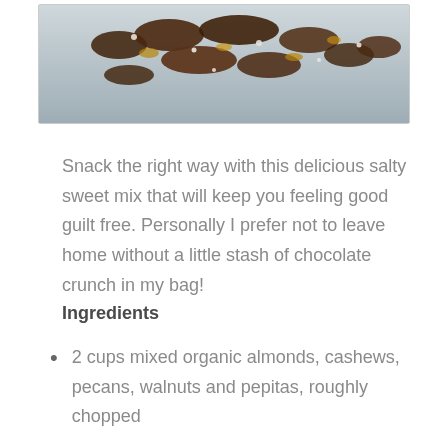[Figure (photo): A baking tray with chocolate granola crunch mix spread across it, photographed from above on a white background. The granola contains dark chocolate pieces and coarse salt.]
Snack the right way with this delicious salty sweet mix that will keep you feeling good guilt free. Personally I prefer not to leave home without a little stash of chocolate crunch in my bag!
Ingredients
2 cups mixed organic almonds, cashews, pecans, walnuts and pepitas, roughly chopped